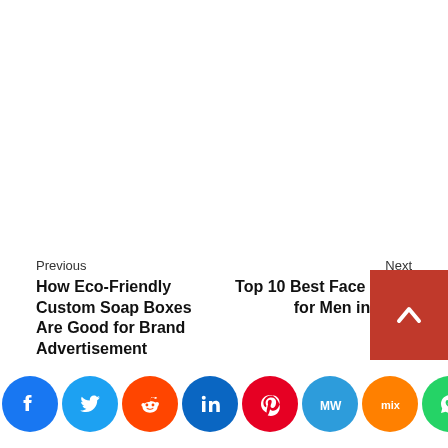Previous
How Eco-Friendly Custom Soap Boxes Are Good for Brand Advertisement
Next
Top 10 Best Face Wash for Men in India
[Figure (infographic): Social media share buttons: Facebook, Twitter, Reddit, LinkedIn, Pinterest, MeWe, Mix, WhatsApp, Share]